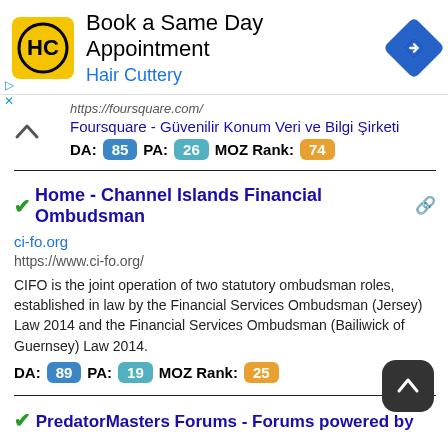[Figure (screenshot): Hair Cuttery ad banner: yellow logo with HC initials, 'Book a Same Day Appointment' title, 'Hair Cuttery' subtitle in blue, blue navigation diamond icon on right]
https://foursquare.com/
Foursquare - Güvenilir Konum Veri ve Bilgi Şirketi
DA: 85  PA: 26  MOZ Rank: 74
Home - Channel Islands Financial Ombudsman
ci-fo.org
https://www.ci-fo.org/
CIFO is the joint operation of two statutory ombudsman roles, established in law by the Financial Services Ombudsman (Jersey) Law 2014 and the Financial Services Ombudsman (Bailiwick of Guernsey) Law 2014.
DA: 89  PA: 19  MOZ Rank: 25
PredatorMasters Forums - Forums powered by